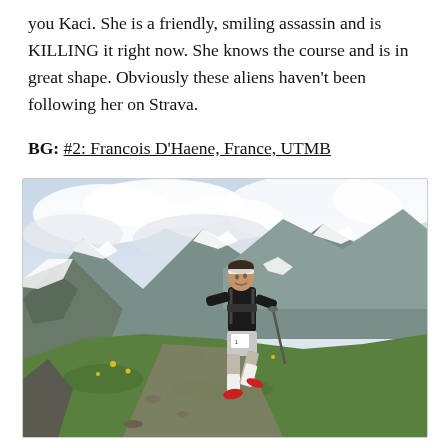you Kaci. She is a friendly, smiling assassin and is KILLING it right now. She knows the course and is in great shape. Obviously these aliens haven't been following her on Strava.
BG: #2: Francois D'Haene, France, UTMB
[Figure (photo): A trail runner (Francois D'Haene) running on a mountain trail with green grass, rocky terrain, and snow-covered peaks in the background under a cloudy sky. He wears a black long-sleeve top, light shorts, white compression socks, red shoes, and carries trekking poles.]